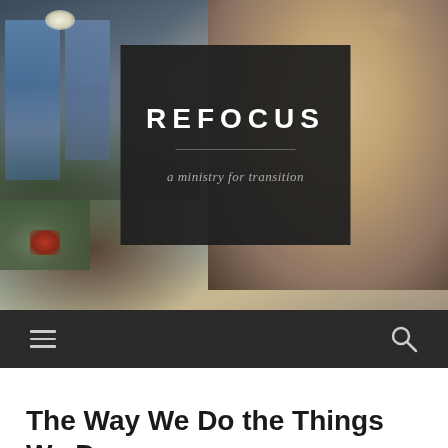[Figure (photo): Hero image showing a young blonde child in a dark sweater in a blurred church interior, with the REFOCUS ministry logo overlay (dark box with white bold REFOCUS text, a divider line, and italic subtitle 'a ministry for transition')]
REFOCUS
a ministry for transition
The Way We Do the Things We Do